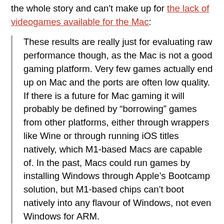the whole story and can't make up for the lack of videogames available for the Mac:
These results are really just for evaluating raw performance though, as the Mac is not a good gaming platform. Very few games actually end up on Mac and the ports are often low quality. If there is a future for Mac gaming it will probably be defined by “borrowing” games from other platforms, either through wrappers like Wine or through running iOS titles natively, which M1-based Macs are capable of. In the past, Macs could run games by installing Windows through Apple’s Bootcamp solution, but M1-based chips can’t boot natively into any flavour of Windows, not even Windows for ARM.